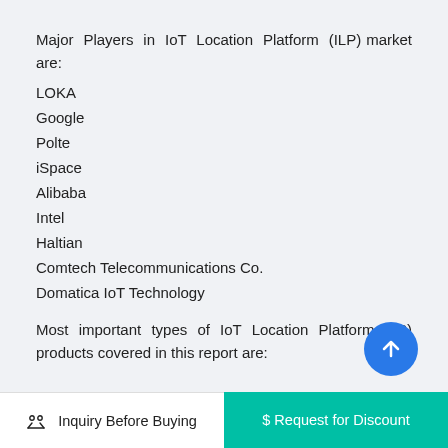Major Players in IoT Location Platform (ILP) market are:
LOKA
Google
Polte
iSpace
Alibaba
Intel
Haltian
Comtech Telecommunications Co.
Domatica IoT Technology
Most important types of IoT Location Platform (ILP) products covered in this report are:
Inquiry Before Buying   $ Request for Discount